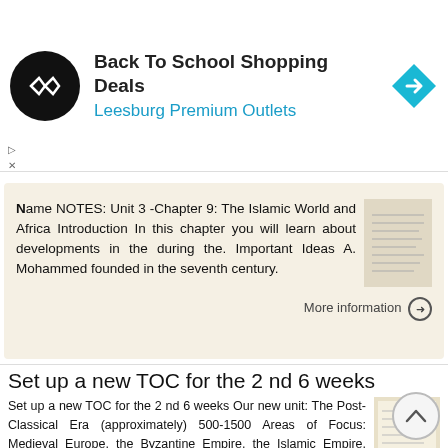[Figure (logo): Back To School Shopping Deals ad banner with circular logo and navigation arrow icon]
Name NOTES: Unit 3 -Chapter 9: The Islamic World and Africa Introduction In this chapter you will learn about developments in the during the. Important Ideas A. Mohammed founded in the seventh century.
More information ➔
Set up a new TOC for the 2 nd 6 weeks
Set up a new TOC for the 2 nd 6 weeks Our new unit: The Post-Classical Era (approximately) 500-1500 Areas of Focus: Medieval Europe, the Byzantine Empire, the Islamic Empire, Tang & Song China Vocab Quiz: